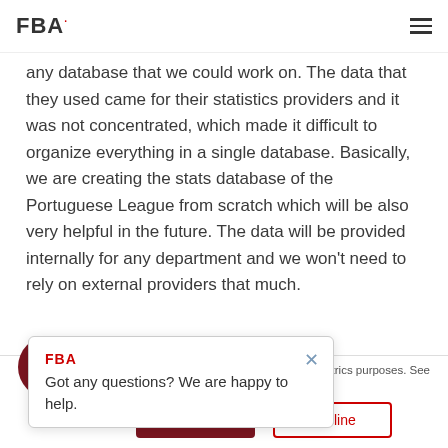FBA
any database that we could work on. The data that they used came for their statistics providers and it was not concentrated, which made it difficult to organize everything in a single database. Basically, we are creating the stats database of the Portuguese League from scratch which will be also very helpful in the future. The data will be provided internally for any department and we won't need to rely on external providers that much.
[Figure (screenshot): FBA popup widget with text 'Got any questions? We are happy to help.' and a close (X) button, plus privacy policy link below]
ou agree to the use trics purposes. See
our Privacy Policy.
[Figure (other): Dark red circular chat bubble icon with speech bubble symbol]
Accept
Decline